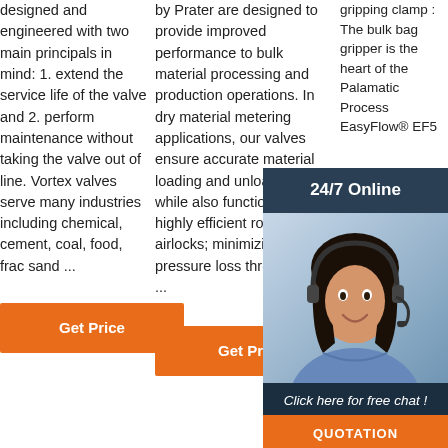designed and engineered with two main principals in mind: 1. extend the service life of the valve and 2. perform maintenance without taking the valve out of line. Vortex valves serve many industries including chemical, cement, coal, food, frac sand ...
by Prater are designed to provide improved performance to bulk material processing and production operations. In dry material metering applications, our valves ensure accurate material loading and unloading while also functioning as highly efficient rotary airlocks; minimizing pressure loss throughout ...
gripping clamp : The bulk bag gripper is the heart of the Palamatic Process EasyFlow® EF5... gripping... hydraulic... designed... clamp... hold... employing... double... system... synchronized and remotely controlled with a chain of safety sensors ...
[Figure (photo): Chat widget with woman wearing headset, dark header reading '24/7 Online', dark body with 'Click here for free chat!' text, and orange QUOTATION button]
TOP